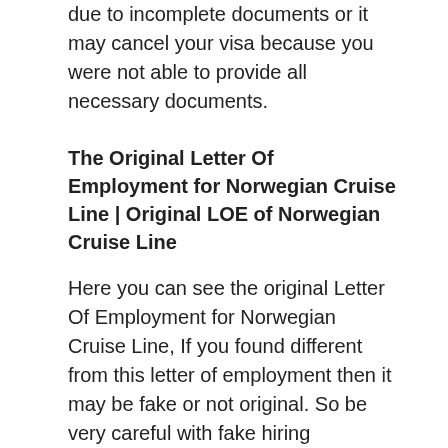due to incomplete documents or it may cancel your visa because you were not able to provide all necessary documents.
The Original Letter Of Employment for Norwegian Cruise Line | Original LOE of Norwegian Cruise Line
Here you can see the original Letter Of Employment for Norwegian Cruise Line, If you found different from this letter of employment then it may be fake or not original. So be very careful with fake hiring company.
The hiring company can cheat your money by providing fake LOE of any company, The Cruise Ship Jobs Opportunity is free of cost. The hiring partners will not ask you any single amount of